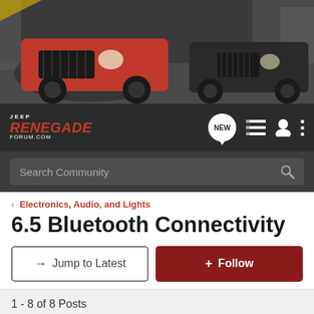[Figure (photo): Jeep Renegade forum banner showing two red and dark Jeep Renegade vehicles on a city street]
[Figure (logo): Jeep Renegade Forum logo with navigation icons including NEW bubble, list icon, person icon, and three-dots menu]
Search Community
< Electronics, Audio, and Lights
6.5 Bluetooth Connectivity
→ Jump to Latest
+ Follow
1 - 8 of 8 Posts
brianxhell · Registered
Joined Apr 9, 2016 · 26 Posts